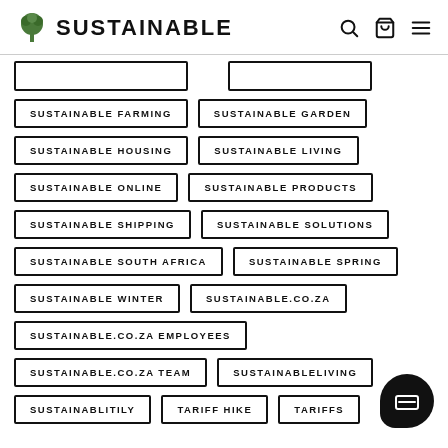SUSTAINABLE
SUSTAINABLE FARMING
SUSTAINABLE GARDEN
SUSTAINABLE HOUSING
SUSTAINABLE LIVING
SUSTAINABLE ONLINE
SUSTAINABLE PRODUCTS
SUSTAINABLE SHIPPING
SUSTAINABLE SOLUTIONS
SUSTAINABLE SOUTH AFRICA
SUSTAINABLE SPRING
SUSTAINABLE WINTER
SUSTAINABLE.CO.ZA
SUSTAINABLE.CO.ZA EMPLOYEES
SUSTAINABLE.CO.ZA TEAM
SUSTAINABLELIVING
SUSTAINABLITILY
TARIFF HIKE
TARIFFS